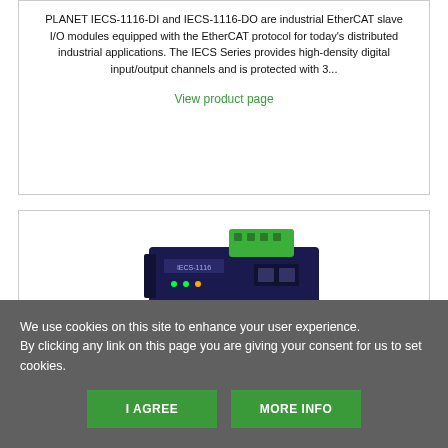PLANET IECS-1116-DI and IECS-1116-DO are industrial EtherCAT slave I/O modules equipped with the EtherCAT protocol for today's distributed industrial applications. The IECS Series provides high-density digital input/output channels and is protected with 3...
View product page
[Figure (photo): Industrial EtherCAT device / module photo showing a dark-blue hardware unit with a green connector block on top]
We use cookies on this site to enhance your user experience.
By clicking any link on this page you are giving your consent for us to set cookies.